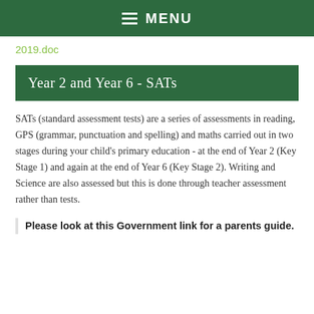MENU
2019.doc
Year 2 and Year 6 - SATs
SATs (standard assessment tests) are a series of assessments in reading, GPS (grammar, punctuation and spelling) and maths carried out in two stages during your child's primary education - at the end of Year 2 (Key Stage 1) and again at the end of Year 6 (Key Stage 2). Writing and Science are also assessed but this is done through teacher assessment rather than tests.
Please look at this Government link for a parents guide.